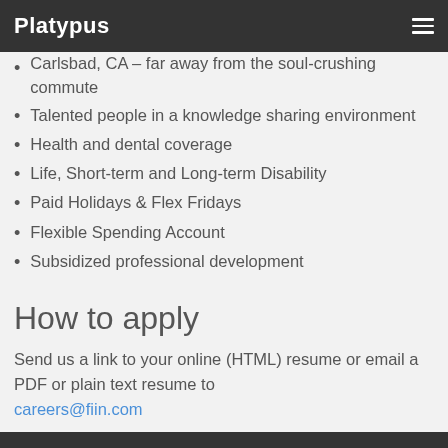Platypus
Carlsbad, CA – far away from the soul-crushing commute
Talented people in a knowledge sharing environment
Health and dental coverage
Life, Short-term and Long-term Disability
Paid Holidays & Flex Fridays
Flexible Spending Account
Subsidized professional development
How to apply
Send us a link to your online (HTML) resume or email a PDF or plain text resume to careers@fiin.com